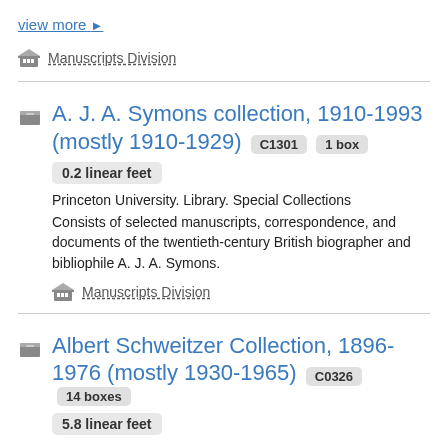view more ▶
Manuscripts Division
A. J. A. Symons collection, 1910-1993 (mostly 1910-1929) C1301 1 box 0.2 linear feet
Princeton University. Library. Special Collections
Consists of selected manuscripts, correspondence, and documents of the twentieth-century British biographer and bibliophile A. J. A. Symons.
Manuscripts Division
Albert Schweitzer Collection, 1896-1976 (mostly 1930-1965) C0326 14 boxes 5.8 linear feet